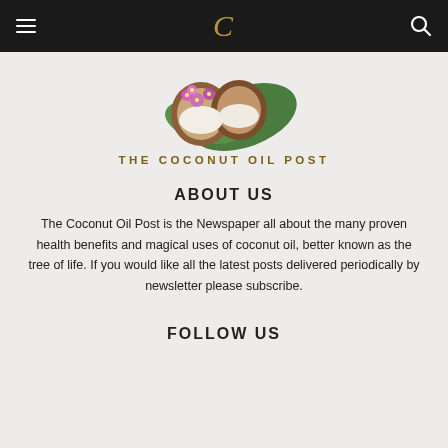C
[Figure (logo): The Coconut Oil Post logo: coconut halves with purple orchid flowers and green leaves above the text 'THE COCONUT OIL POST' in gold uppercase letters]
ABOUT US
The Coconut Oil Post is the Newspaper all about the many proven health benefits and magical uses of coconut oil, better known as the tree of life. If you would like all the latest posts delivered periodically by newsletter please subscribe.
FOLLOW US